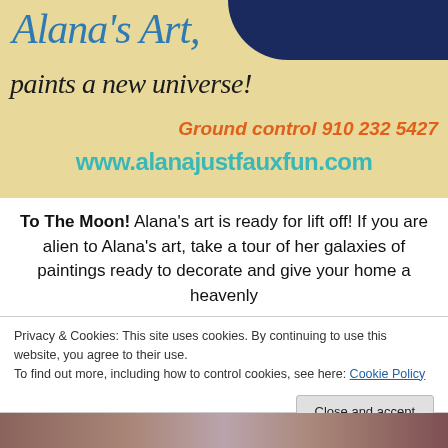[Figure (illustration): Alana's Art advertisement banner with light tan/wood background, dark blue shape at top right, cursive blue 'Alana's Art.' text, italic black 'paints a new universe!' text, orange bold italic 'Ground control 910 232 5427', and teal bold 'www.alanajustfauxfun.com']
To The Moon! Alana's art is ready for lift off! If you are alien to Alana's art, take a tour of her galaxies of paintings ready to decorate and give your home a heavenly
Privacy & Cookies: This site uses cookies. By continuing to use this website, you agree to their use.
To find out more, including how to control cookies, see here: Cookie Policy
Close and accept
[Figure (photo): Bottom strip showing partial image on purple background — appears to be Easter eggs or decorative items]